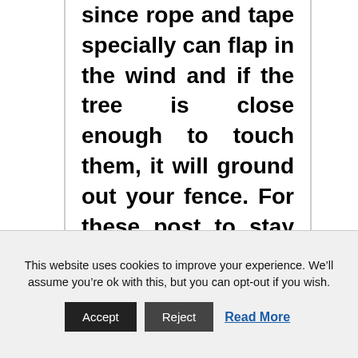since rope and tape specially can flap in the wind and if the tree is close enough to touch them, it will ground out your fence. For these post to stay steady on a gate we bury and concrete down 2' deep, 3' deep if we are undertaking a long gate like 8'.
Note: electronic fences might
This website uses cookies to improve your experience. We'll assume you're ok with this, but you can opt-out if you wish.